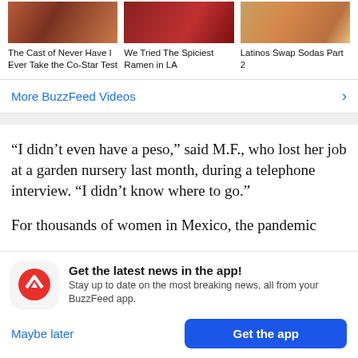[Figure (screenshot): Three video thumbnails in a row: cast of TV show, ramen dish, and people]
The Cast of Never Have I Ever Take the Co-Star Test
We Tried The Spiciest Ramen in LA
Latinos Swap Sodas Part 2
More BuzzFeed Videos
“I didn’t even have a peso,” said M.F., who lost her job at a garden nursery last month, during a telephone interview. “I didn’t know where to go.”
For thousands of women in Mexico, the pandemic
Get the latest news in the app! Stay up to date on the most breaking news, all from your BuzzFeed app.
Maybe later
Get the app